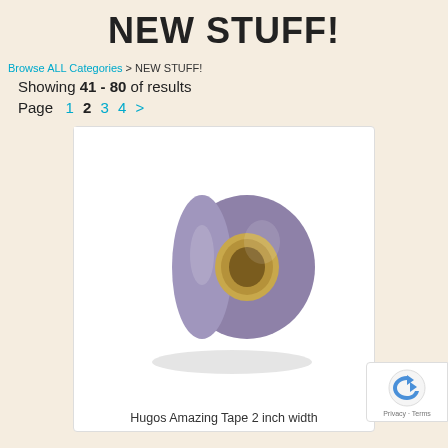NEW STUFF!
Browse ALL Categories > NEW STUFF!
Showing 41 - 80 of results
Page  1  2  3  4  >
[Figure (photo): A roll of purple/lavender adhesive tape with a cardboard core, shown at an angle on a white background inside a product listing card.]
Hugos Amazing Tape 2 inch width